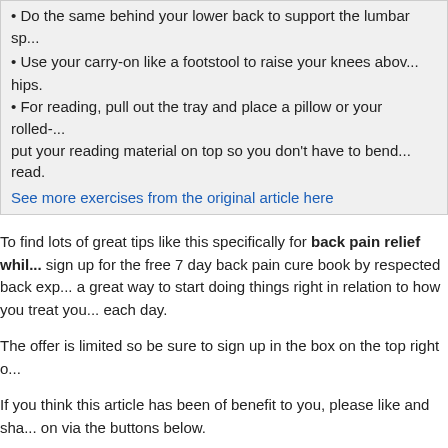Do the same behind your lower back to support the lumbar sp...
Use your carry-on like a footstool to raise your knees above hips.
For reading, pull out the tray and place a pillow or your rolled-... put your reading material on top so you don't have to bend... read.
See more exercises from the original article here
To find lots of great tips like this specifically for back pain relief while... sign up for the free 7 day back pain cure book by respected back exp... a great way to start doing things right in relation to how you treat you... each day.
The offer is limited so be sure to sign up in the box on the top right o...
If you think this article has been of benefit to you, please like and sha... on via the buttons below.
[Figure (other): Social sharing buttons: Tweet, Facebook, Share]